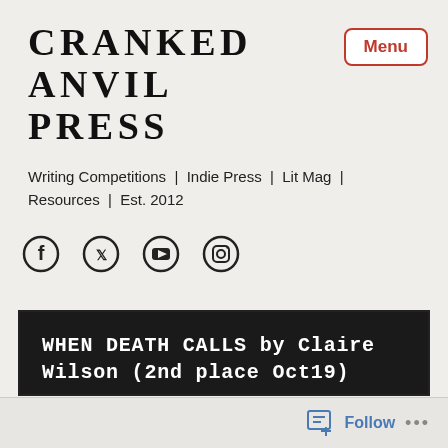CRANKED ANVIL PRESS
Writing Competitions | Indie Press | Lit Mag | Resources | Est. 2012
[Figure (other): Social media icons: Facebook, Twitter, YouTube, Instagram]
WHEN DEATH CALLS by Claire Wilson (2nd place Oct19)
12 DEC 2019
2 COMMENTS
Follow ...